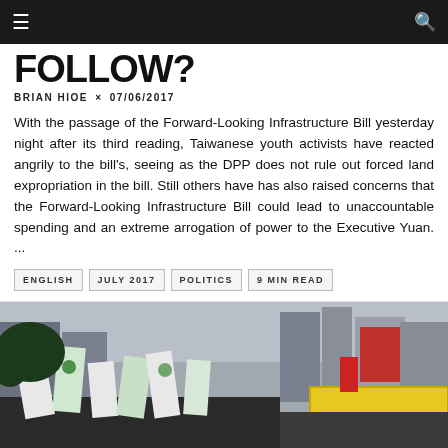Navigation bar with hamburger menu and search icon
FOLLOW?
BRIAN HIOE × 07/06/2017
With the passage of the Forward-Looking Infrastructure Bill yesterday night after its third reading, Taiwanese youth activists have reacted angrily to the bill's, seeing as the DPP does not rule out forced land expropriation in the bill. Still others have has also raised concerns that the Forward-Looking Infrastructure Bill could lead to unaccountable spending and an extreme arrogation of power to the Executive Yuan. ...
ENGLISH
JULY 2017
POLITICS
9 MIN READ
[Figure (photo): Street protest scene in Taiwan with banners and signs, urban street with buildings in background]